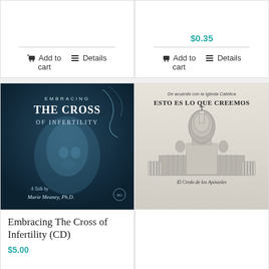$0.35
Add to cart
Details
Add to cart
Details
[Figure (photo): Book cover: Embracing The Cross of Infertility, A Talk by Marie Meaney, Ph.D. — dark blue toned image of a Renaissance-style face]
Embracing The Cross of Infertility (CD)
$5.00
[Figure (photo): Book cover: 'ESTO ES LO QUE CREEMOS' — De acuerdo con la Iglesia Católica, illustration of St. Peter's Basilica, El Credo de los Apóstoles prayer text]
De acuerdo con la Iglesia Católica ESTO ES LO QUE CREEMOS El Credo de los Apóstoles Creo en Dios, Padre Todopoderoso, Creador del cielo y de la tierra. Creo en Jesucristo, su único Hijo, Nuestro Señor, que fue concebido por obra y gracia del Espíritu Santo, nació de Santa María Virgen, padeció bajo el poder de Poncio Pilato, fue crucificado, muerto y sepultado. Descendió a los infiernos, al tercer día resucitó de entre los muertos, subió a los cielos y está sentado a la derecha de Dios, Padre Todopoderoso. Desde allí ha de venir a juzgar a vivos y muertos. Creo en el Espíritu Santo, la Santa Iglesia Católica, la comunión de los santos, el perdón de los pecados, la resurrección de la carne y la vida eterna. Amén.